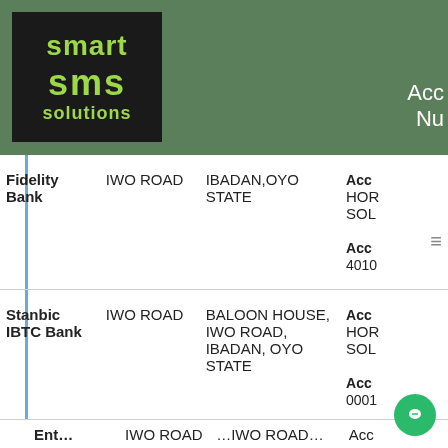Smart SMS Solutions — Account Number header
| Bank | Branch | Address | Account Details |
| --- | --- | --- | --- |
| Fidelity Bank | IWO ROAD | IBADAN,OYO STATE | Acc HOR SOL
Acc 4010 |
| Stanbic IBTC Bank | IWO ROAD | BALOON HOUSE, IWO ROAD, IBADAN, OYO STATE | Acc HOR SOL
Acc 0001 |
| (partial row) | IWO ROAD | IWO ROAD... | Acc |